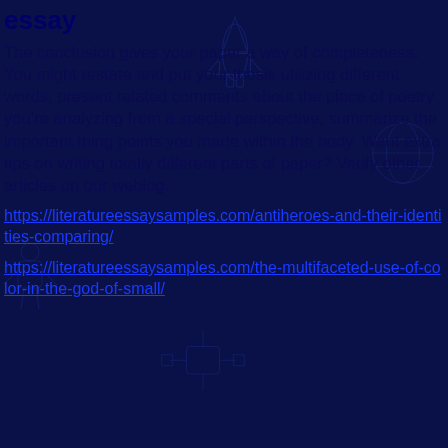essay
The conclusion gives your paper a way of completeness. You might restate and put your thesis utilizing different words, present related comments about the piece of poetry you’re analyzing from a special perspective, summarize the important thing points you made within the body. Want extra tips on writing totally different parts of paper? Verify other articles on our weblog.
https://literatureessaysamples.com/antiheroes-and-their-identities-comparing/
https://literatureessaysamples.com/the-multifaceted-use-of-color-in-the-god-of-small/